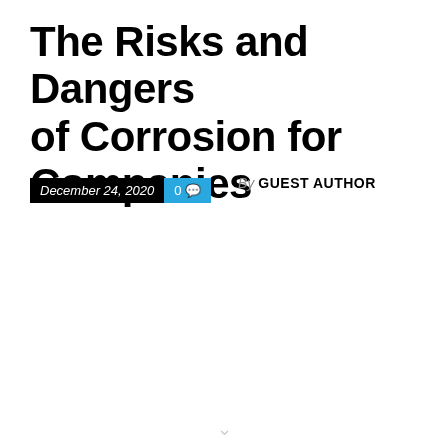The Risks and Dangers of Corrosion for Companies
December 24, 2020  0  By GUEST AUTHOR